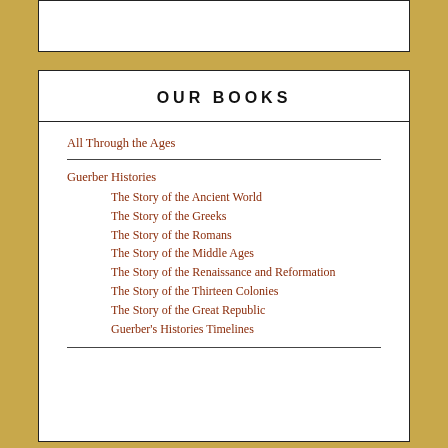OUR BOOKS
All Through the Ages
Guerber Histories
The Story of the Ancient World
The Story of the Greeks
The Story of the Romans
The Story of the Middle Ages
The Story of the Renaissance and Reformation
The Story of the Thirteen Colonies
The Story of the Great Republic
Guerber's Histories Timelines